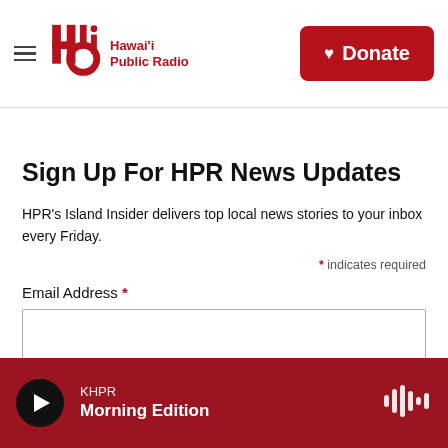Hawai'i Public Radio — Donate
Sign Up For HPR News Updates
HPR's Island Insider delivers top local news stories to your inbox every Friday.
* indicates required
Email Address *
KHPR Morning Edition